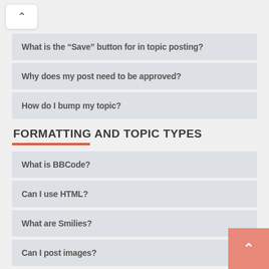What is the “Save” button for in topic posting?
Why does my post need to be approved?
How do I bump my topic?
FORMATTING AND TOPIC TYPES
What is BBCode?
Can I use HTML?
What are Smilies?
Can I post images?
What are global announcements?